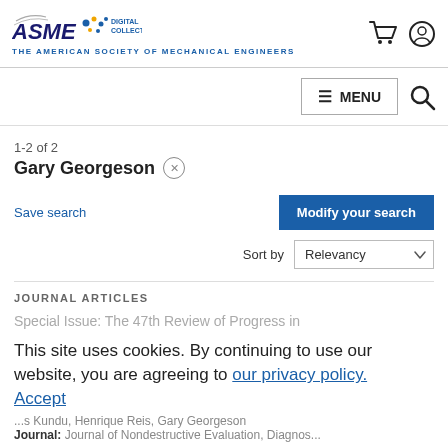ASME Digital Collection — The American Society of Mechanical Engineers
1-2 of 2
Gary Georgeson ×
Save search
Modify your search
Sort by Relevancy
JOURNAL ARTICLES
Special Issue: The 47th Review of Progress in
This site uses cookies. By continuing to use our website, you are agreeing to our privacy policy.
Accept
Journal: Journal of Nondestructive Evaluation, Diagnostics and...